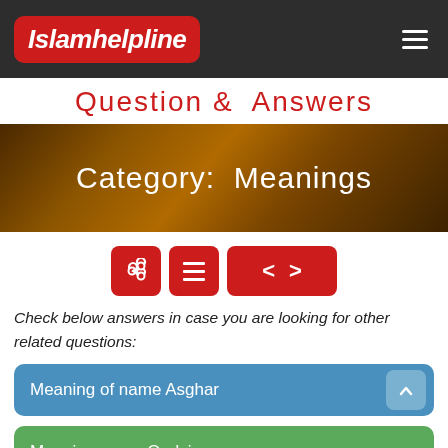Islamhelpline
Question & Answers
Category: Meanings
[Figure (other): Navigation toolbar with share, menu, previous and next buttons in red]
Check below answers in case you are looking for other related questions:
Meaning of name Asghar
Meaning name Qudsiya.